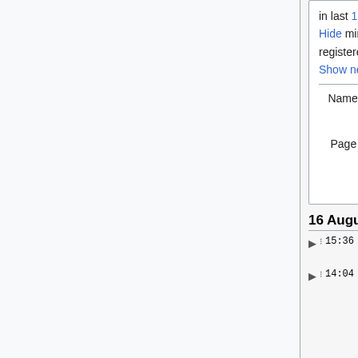in last 1 | 3 | 7 | 14 | 30 days
Hide minor edits | Show bots | Hide anony registered users | Hide my edits
Show new changes starting from 21:16, 1
Namespace: all  Associated namespace
Page name: Allied Families (mtDNA)  Show changes to pages instead Go
16 August 2022
15:36 Billington (Y-DNA) (4 changes | history) . . (+71) . . [Wing genealogist (4×)]
14:04 Sarah, wife of Moses Simmons (mtDNA) (3 changes | history) . . (+43)